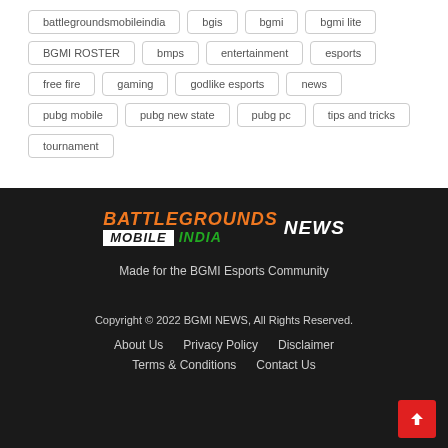battlegroundsmobileindia
bgis
bgmi
bgmi lite
BGMI ROSTER
bmps
entertainment
esports
free fire
gaming
godlike esports
news
pubg mobile
pubg new state
pubg pc
tips and tricks
tournament
[Figure (logo): Battlegrounds Mobile India News logo with orange BATTLEGROUNDS text, white MOBILE box, green INDIA text, white NEWS text]
Made for the BGMI Esports Community
Copyright © 2022 BGMI NEWS, All Rights Reserved.
About Us  Privacy Policy  Disclaimer  Terms & Conditions  Contact Us